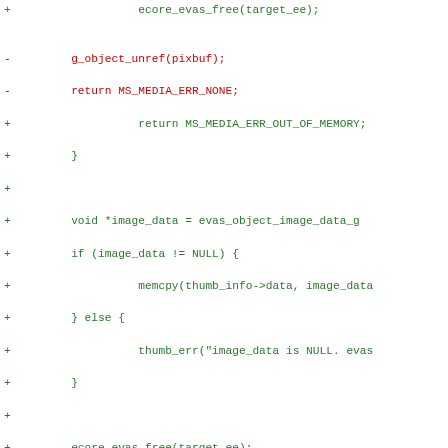[Figure (screenshot): A code diff view showing C source code changes. Green lines prefixed with '+' are additions, red lines prefixed with '-' are deletions, blue lines show diff hunk headers. The code involves media thumbnail conversion functions using evas/ecore APIs.]